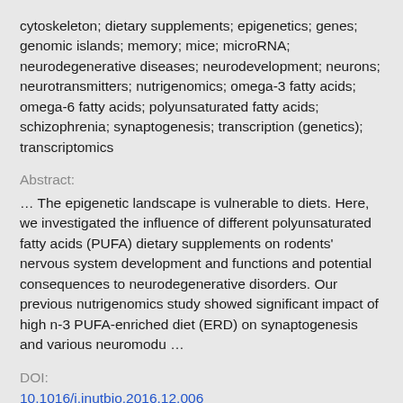cytoskeleton; dietary supplements; epigenetics; genes; genomic islands; memory; mice; microRNA; neurodegenerative diseases; neurodevelopment; neurons; neurotransmitters; nutrigenomics; omega-3 fatty acids; omega-6 fatty acids; polyunsaturated fatty acids; schizophrenia; synaptogenesis; transcription (genetics); transcriptomics
Abstract:
… The epigenetic landscape is vulnerable to diets. Here, we investigated the influence of different polyunsaturated fatty acids (PUFA) dietary supplements on rodents' nervous system development and functions and potential consequences to neurodegenerative disorders. Our previous nutrigenomics study showed significant impact of high n-3 PUFA-enriched diet (ERD) on synaptogenesis and various neuromodu …
DOI:
10.1016/j.jnutbio.2016.12.006